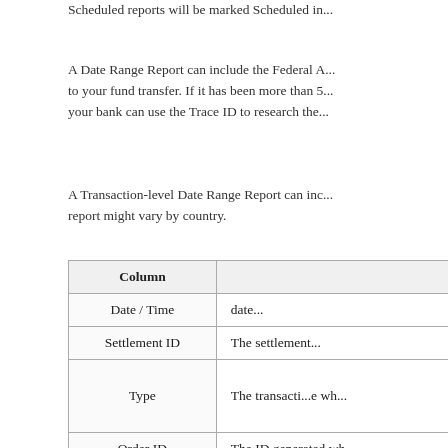Scheduled reports will be marked Scheduled in...
A Date Range Report can include the Federal A... to your fund transfer. If it has been more than 5... your bank can use the Trace ID to research the...
A Transaction-level Date Range Report can inc... report might vary by country.
| Column | Description |
| --- | --- |
| Date / Time | date... |
| Settlement ID | The settlement... |
| Type | The transacti...e wh... |
| Order ID | The ID generated wh... |
| SKU | The product SKU as... |